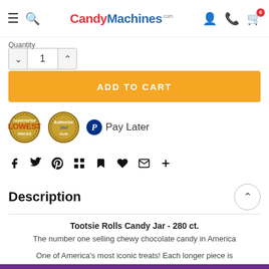CandyMachines.com
Quantity
1
ADD TO CART
[Figure (logo): Lowest Prices guarantee badge (gold/brown circular stamp)]
[Figure (logo): Authorize.Net gold seal badge]
Pay Later
[Figure (infographic): Social sharing icons: Facebook, Twitter, Pinterest, Grid/Apps, Bookmark, Heart, Email, Plus]
Description
Tootsie Rolls Candy Jar - 280 ct.
The number one selling chewy chocolate candy in America
One of America's most iconic treats! Each longer piece is